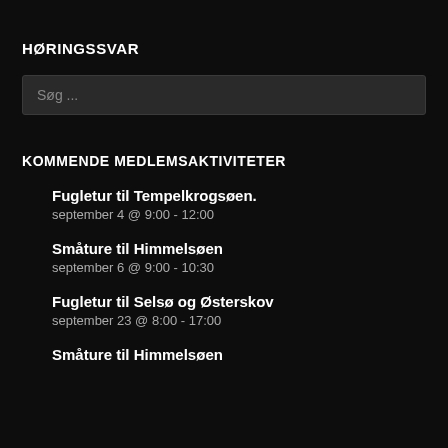HØRINGSSVAR
Søg ...
KOMMENDE MEDLEMSAKTIVITETER
Fugletur til Tempelkrogsøen.
september 4 @ 9:00 - 12:00
Småture til Himmelsøen
september 6 @ 9:00 - 10:30
Fugletur til Selsø og Østerskov
september 23 @ 8:00 - 17:00
Småture til Himmelsøen